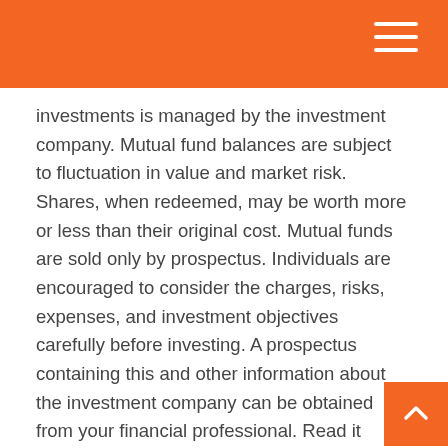investments is managed by the investment company. Mutual fund balances are subject to fluctuation in value and market risk. Shares, when redeemed, may be worth more or less than their original cost. Mutual funds are sold only by prospectus. Individuals are encouraged to consider the charges, risks, expenses, and investment objectives carefully before investing. A prospectus containing this and other information about the investment company can be obtained from your financial professional. Read it carefully before you invest or send money.
National Association of Securities Dealers Automated Quotations (NASDAQ)
An American stock exchange originally founded by National Association of Securities Dealers. When the NASDAQ stock exchange began trading on February